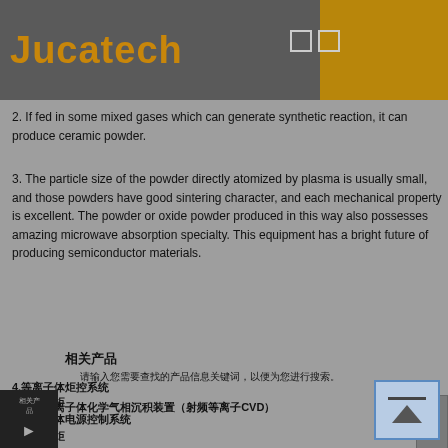Jucatech
2. If fed in some mixed gases which can generate synthetic reaction, it can produce ceramic powder.
3. The particle size of the powder directly atomized by plasma is usually small, and those powders have good sintering character, and each mechanical property is excellent. The powder or oxide powder produced in this way also possesses amazing microwave absorption specialty. This equipment has a bright future of producing semiconductor materials.
相关产品
请输入您需要查找的产品信息关键词，以便为您进行搜索。
1.等离子炬
2.等离子体电源控制系统
3.等离子炬
4.等离子体炬控系统
5.射频等离子体化学气相沉积装置（射频等离子CVD）